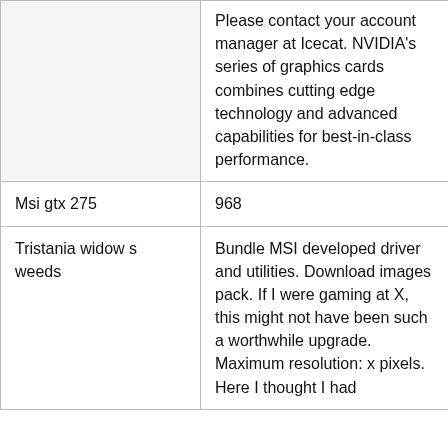|  | Please contact your account manager at Icecat. NVIDIA's series of graphics cards combines cutting edge technology and advanced capabilities for best-in-class performance. |
| Msi gtx 275 | 968 |
| Tristania widow s weeds | Bundle MSI developed driver and utilities. Download images pack. If I were gaming at X, this might not have been such a worthwhile upgrade. Maximum resolution: x pixels. Here I thought I had... |